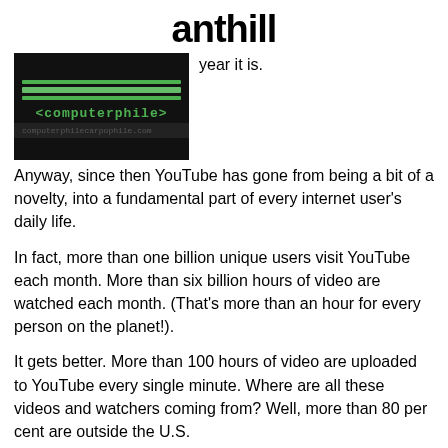anthill
[Figure (screenshot): Screenshot of a Computerphile YouTube channel thumbnail with green text on black background showing '<computerphile>']
year it is.
Anyway, since then YouTube has gone from being a bit of a novelty, into a fundamental part of every internet user's daily life.
In fact, more than one billion unique users visit YouTube each month. More than six billion hours of video are watched each month. (That's more than an hour for every person on the planet!).
It gets better. More than 100 hours of video are uploaded to YouTube every single minute. Where are all these videos and watchers coming from? Well, more than 80 per cent are outside the U.S.
So, with these kinds of volumes, how do people find things they want to watch?